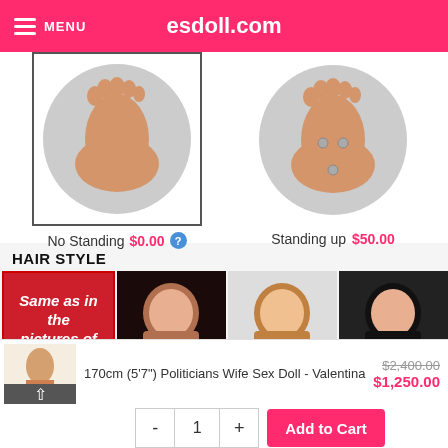esdoll.com
[Figure (photo): Two foot sole options: 'No Standing' (plain foot sole in circle, selected with border) and 'Standing up' (foot sole with metal bolt holes in circle)]
No Standing   $0.00   Standing up   $50.00
HAIR STYLE
[Figure (photo): Four hair style options: red box with text 'Same as in the pictures of the doll', brunette long wavy, light brown wavy, black straight]
170cm (5'7") Politicians Wife Sex Doll - Valentina
$2,400.00  $1,250.00
- 1 + Add to Cart